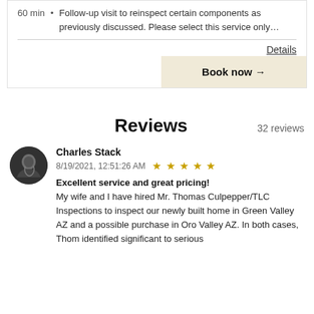60 min • Follow-up visit to reinspect certain components as previously discussed. Please select this service only...
Details
Book now →
Reviews  32 reviews
[Figure (photo): Circular avatar photo of Charles Stack, a person with a guitar]
Charles Stack
8/19/2021, 12:51:26 AM ★★★★★
Excellent service and great pricing!
My wife and I have hired Mr. Thomas Culpepper/TLC Inspections to inspect our newly built home in Green Valley AZ and a possible purchase in Oro Valley AZ. In both cases, Thom identified significant to serious